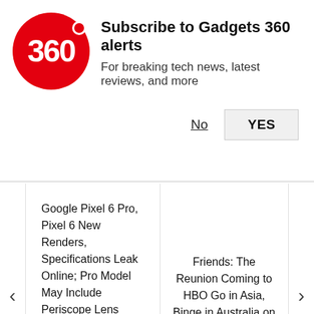[Figure (logo): Gadgets 360 red circular logo with '360' text]
Subscribe to Gadgets 360 alerts
For breaking tech news, latest reviews, and more
No
YES
Google Pixel 6 Pro, Pixel 6 New Renders, Specifications Leak Online; Pro Model May Include Periscope Lens
Friends: The Reunion Coming to HBO Go in Asia, Binge in Australia on May 27
[Figure (screenshot): Featured label banner in red]
[Figure (photo): Broken image placeholder for featured article]
[Figure (screenshot): Video thumbnail showing a TV with galaxy/spiral nebula image on screen, red play button overlay, close X button]